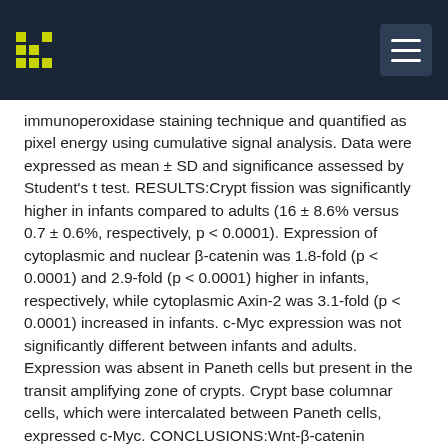immunoperoxidase staining technique and quantified as pixel energy using cumulative signal analysis. Data were expressed as mean ± SD and significance assessed by Student's t test. RESULTS:Crypt fission was significantly higher in infants compared to adults (16 ± 8.6% versus 0.7 ± 0.6%, respectively, p < 0.0001). Expression of cytoplasmic and nuclear β-catenin was 1.8-fold (p < 0.0001) and 2.9-fold (p < 0.0001) higher in infants, respectively, while cytoplasmic Axin-2 was 3.1-fold (p < 0.0001) increased in infants. c-Myc expression was not significantly different between infants and adults. Expression was absent in Paneth cells but present in the transit amplifying zone of crypts. Crypt base columnar cells, which were intercalated between Paneth cells, expressed c-Myc. CONCLUSIONS:Wnt-β-catenin signaling was active in crypt base columnar